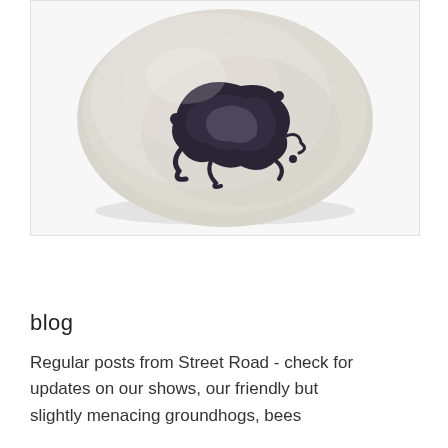[Figure (photo): A smooth grey stone/pebble with a dark charcoal or ink mark on its surface, photographed on a white background.]
blog
Regular posts from Street Road - check for updates on our shows, our friendly but slightly menacing groundhogs, bees